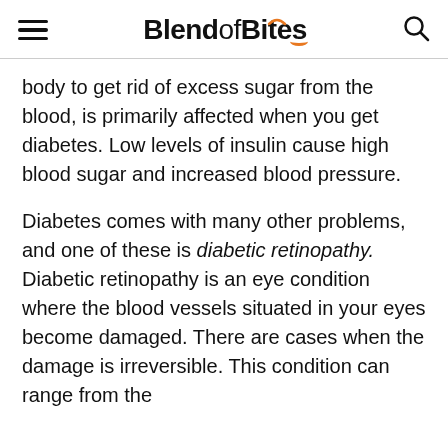BlendofBites
body to get rid of excess sugar from the blood, is primarily affected when you get diabetes. Low levels of insulin cause high blood sugar and increased blood pressure.
Diabetes comes with many other problems, and one of these is diabetic retinopathy. Diabetic retinopathy is an eye condition where the blood vessels situated in your eyes become damaged. There are cases when the damage is irreversible. This condition can range from the